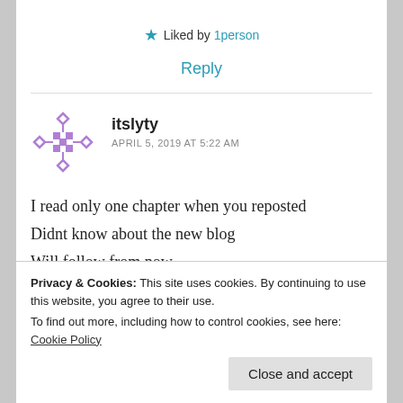★ Liked by 1person
Reply
[Figure (illustration): Purple decorative snowflake/pattern avatar icon for user itslyty]
itslyty
APRIL 5, 2019 AT 5:22 AM
I read only one chapter when you reposted
Didnt know about the new blog
Will follow from now
Privacy & Cookies: This site uses cookies. By continuing to use this website, you agree to their use.
To find out more, including how to control cookies, see here: Cookie Policy
Close and accept